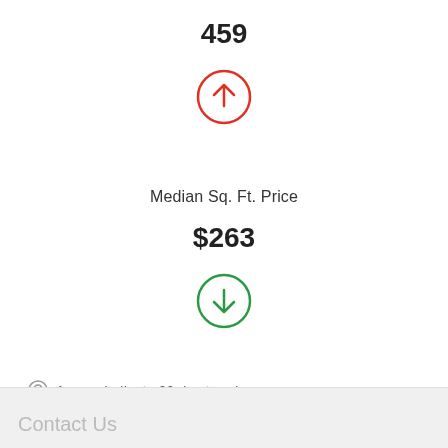459
[Figure (infographic): Red circle with upward arrow indicating upward 90-day trend]
Median Sq. Ft. Price
$263
[Figure (infographic): Green circle with downward arrow indicating downward 90-day trend]
Arrows indicate 90 day trend
Source: CA Regional MLS (CRMLS). Data Calculation by Constellation1.
Contact Us